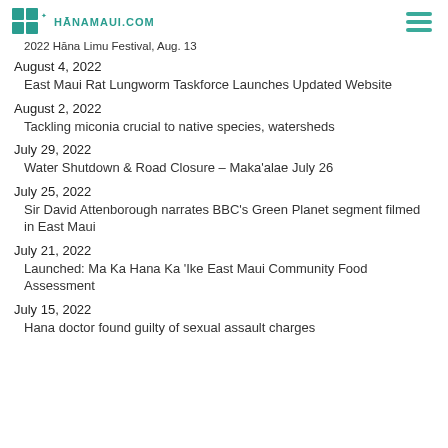HĀNAMAUI.COM
2022 Hāna Limu Festival, Aug. 13
August 4, 2022
East Maui Rat Lungworm Taskforce Launches Updated Website
August 2, 2022
Tackling miconia crucial to native species, watersheds
July 29, 2022
Water Shutdown & Road Closure – Maka'alae July 26
July 25, 2022
Sir David Attenborough narrates BBC's Green Planet segment filmed in East Maui
July 21, 2022
Launched: Ma Ka Hana Ka 'Ike East Maui Community Food Assessment
July 15, 2022
Hana doctor found guilty of sexual assault charges